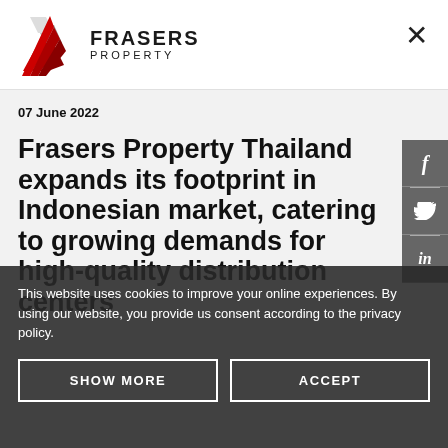[Figure (logo): Frasers Property logo with red triangular geometric mark and company name text]
07 June 2022
Frasers Property Thailand expands its footprint in Indonesian market, catering to growing demands for high-quality distribution centers
This website uses cookies to improve your online experiences. By using our website, you provide us consent according to the privacy policy.
SHOW MORE
ACCEPT